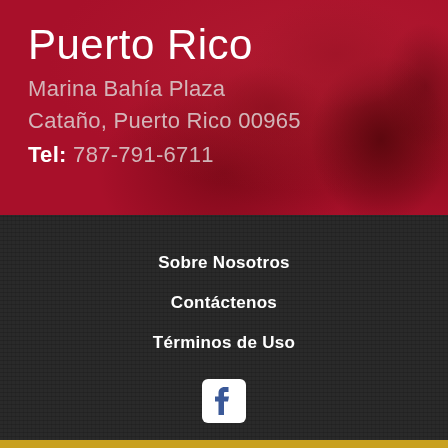Puerto Rico
Marina Bahía Plaza
Cataño, Puerto Rico 00965
Tel: 787-791-6711
Sobre Nosotros
Contáctenos
Términos de Uso
[Figure (logo): Facebook logo icon (white 'f' on white rounded square background)]
© Orkin, LLC 2022